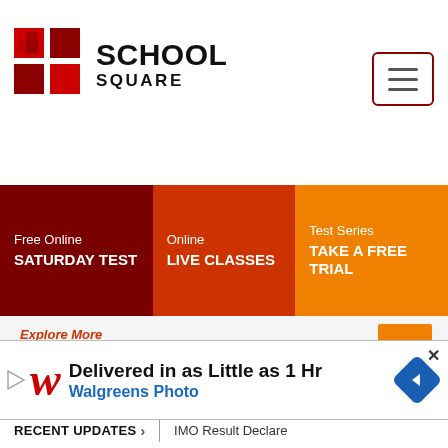[Figure (logo): School Square logo with red cross/grid icon and bold text SCHOOL SQUARE]
[Figure (screenshot): Hamburger menu button with three horizontal bars, red border]
[Figure (infographic): Navigation bar with three colored sections: dark red Free Online SATURDAY TEST, orange-red Online LIVE CLASSES, orange Test Series TAKE A FREE TRIAL]
Explore More
Olympiad Exam Dates
Time to mark your calendar with the upcoming Olympiad exam schedule
[Figure (screenshot): Walgreens Photo advertisement banner: Delivered in as Little as 1 Hr, Walgreens Photo, with navigation arrow diamond icon]
RECENT UPDATES > IMO Result Declare